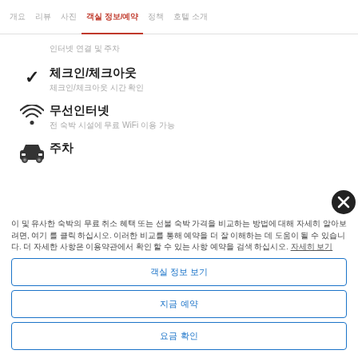개요  리뷰  사진  객실 정보/예약  정책  호텔 소개
인터넷 연결 및 주차
체크인/체크아웃
체크인/체크아웃 시간 확인
무선인터넷
전 숙박 시설에 무료 WiFi 이용 가능
주차
이 및 유사한 숙박의 무료 취소 혜택 또는 선불 숙박 가격을 비교하는 방법에 대해 자세히 알아보려면, 여기 를 클릭 하십시오. 이러한 비교를 통해 예약을 더 잘 이해하는 데 도움이 될 수 있습니다. 더 자세한 사항은 이용약관에서 확인 할 수 있는 사항 예약을 검색 하십시오. 자세히 보기
객실 정보 보기
지금 예약
요금 확인